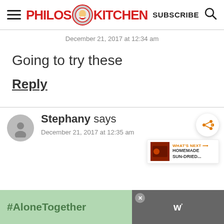Philos Kitchen — SUBSCRIBE
December 21, 2017 at 12:34 am
Going to try these
Reply
Stephany says
December 21, 2017 at 12:35 am
[Figure (screenshot): Advertisement banner showing #AloneTogether text on green background with people waving, and a TV network logo]
[Figure (other): What's Next widget showing Homemade Sun-Dried... article preview]
[Figure (other): Share button (circular with share icon)]